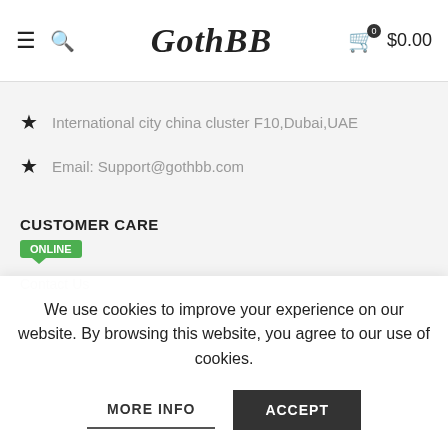GothBB — $0.00
International city china cluster F10,Dubai,UAE
Email: Support@gothbb.com
CUSTOMER CARE
ONLINE
Contact Us
We use cookies to improve your experience on our website. By browsing this website, you agree to our use of cookies.
MORE INFO
ACCEPT